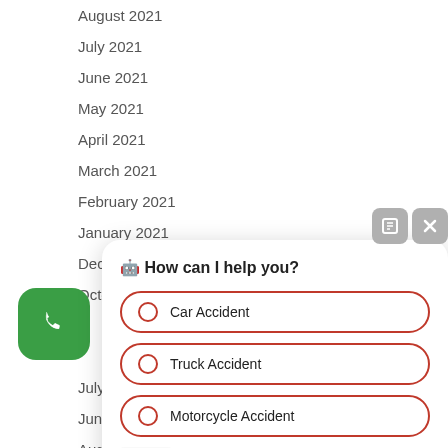August 2021
July 2021
June 2021
May 2021
April 2021
March 2021
February 2021
January 2021
December 2020
October 2020
ber 2020
2020
July 2020
June 2020
August 2019
July 2019
[Figure (screenshot): Chat widget with header 'How can I help you?' and options: Car Accident, Truck Accident, Motorcycle Accident]
[Figure (illustration): Green phone button icon]